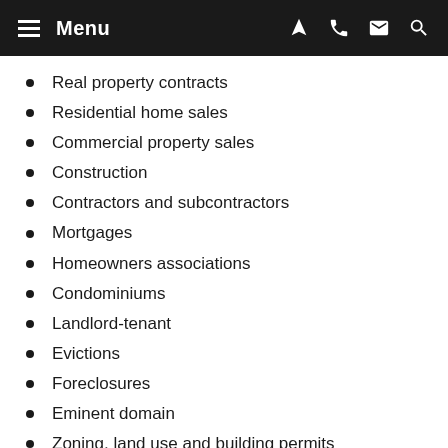Menu
Real property contracts
Residential home sales
Commercial property sales
Construction
Contractors and subcontractors
Mortgages
Homeowners associations
Condominiums
Landlord-tenant
Evictions
Foreclosures
Eminent domain
Zoning, land use and building permits
Boundaries and easements
Title